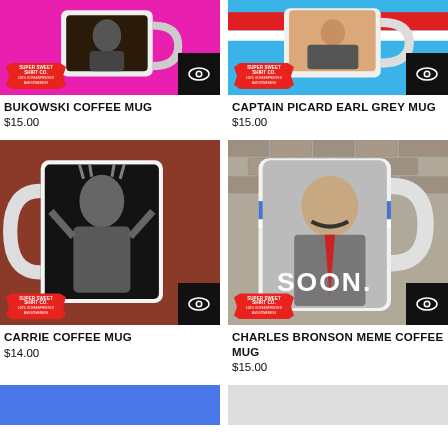[Figure (photo): Bukowski Coffee Mug product image on magenta/pink background with Super Sweet Shirt Co. logo badge and eye icon]
BUKOWSKI COFFEE MUG
$15.00
[Figure (photo): Captain Picard Earl Grey Mug product image on blue background with Super Sweet Shirt Co. logo badge and eye icon]
CAPTAIN PICARD EARL GREY MUG
$15.00
[Figure (photo): Carrie Coffee Mug product image on brown/rust background with black and white mug graphic, Super Sweet Shirt Co. logo badge and eye icon]
CARRIE COFFEE MUG
$14.00
[Figure (photo): Charles Bronson Meme Coffee Mug product image on grey brick wall background showing mug with SOON text, Super Sweet Shirt Co. logo badge and eye icon]
CHARLES BRONSON MEME COFFEE MUG
$15.00
[Figure (photo): Partial product image on blue background - bottom of page]
[Figure (photo): Partial product image on light grey background - bottom of page]